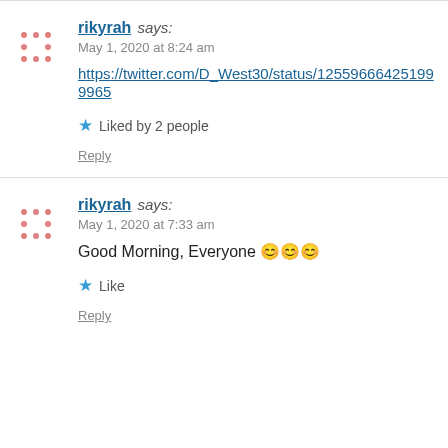rikyrah says: May 1, 2020 at 8:24 am https://twitter.com/D_West30/status/125596664251999... Liked by 2 people Reply
rikyrah says: May 1, 2020 at 7:33 am Good Morning, Everyone 😊😊😊 Like Reply